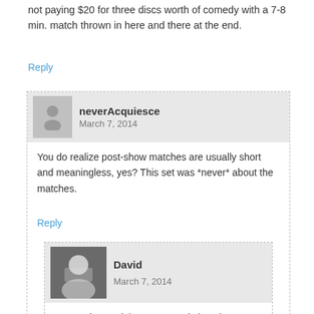not paying $20 for three discs worth of comedy with a 7-8 min. match thrown in here and there at the end.
Reply
neverAcquiesce
March 7, 2014
You do realize post-show matches are usually short and meaningless, yes? This set was *never* about the matches.
Reply
David
March 7, 2014
No need to explain, most people just don't understand the purpose of this release.
Reply